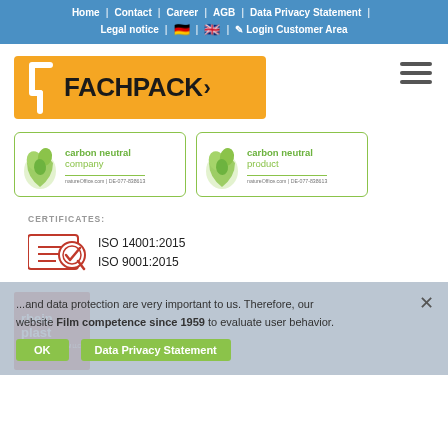Home | Contact | Career | AGB | Data Privacy Statement | Legal notice | [DE flag] | [UK flag] | Login Customer Area
[Figure (logo): Fachpack logo: white F arrow on orange background with FACHPACK> text]
[Figure (logo): Carbon neutral company badge with green leaf icon, natureOffice.com | DE-077-838613]
[Figure (logo): Carbon neutral product badge with green leaf icon, natureOffice.com | DE-077-838613]
CERTIFICATES:
[Figure (illustration): Certificate icon with red badge and magnifying glass]
ISO 14001:2015
ISO 9001:2015
[Figure (logo): Rhein Plast logo: red and white logo with text, Member of RHEIN FILM LLC, Film competence since 1959]
...and data protection are very important to us. Therefore, our website... to evaluate user behavior.
Film competence since 1959
OK   Data Privacy Statement